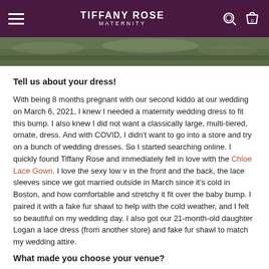TIFFANY ROSE MATERNITY
[Figure (photo): Outdoor photo strip showing grassy/natural background, partially cropped at top of page]
Tell us about your dress!
With being 8 months pregnant with our second kiddo at our wedding on March 6, 2021, I knew I needed a maternity wedding dress to fit this bump. I also knew I did not want a classically large, multi-tiered, ornate, dress. And with COVID, I didn't want to go into a store and try on a bunch of wedding dresses. So I started searching online. I quickly found Tiffany Rose and immediately fell in love with the Chloe Lace Gown. I love the sexy low v in the front and the back, the lace sleeves since we got married outside in March since it's cold in Boston, and how comfortable and stretchy it fit over the baby bump. I paired it with a fake fur shawl to help with the cold weather, and I felt so beautiful on my wedding day. I also got our 21-month-old daughter Logan a lace dress (from another store) and fake fur shawl to match my wedding attire.
What made you choose your venue?